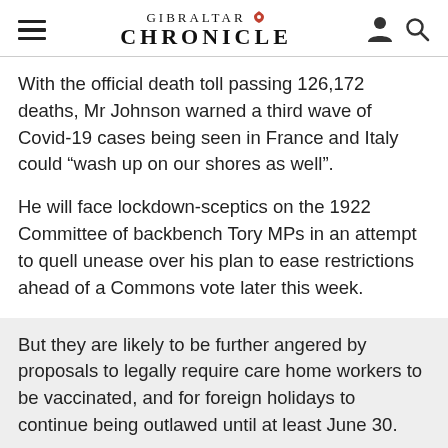GIBRALTAR CHRONICLE
With the official death toll passing 126,172 deaths, Mr Johnson warned a third wave of Covid-19 cases being seen in France and Italy could “wash up on our shores as well”.
He will face lockdown-sceptics on the 1922 Committee of backbench Tory MPs in an attempt to quell unease over his plan to ease restrictions ahead of a Commons vote later this week.
But they are likely to be further angered by proposals to legally require care home workers to be vaccinated, and for foreign holidays to continue being outlawed until at least June 30.